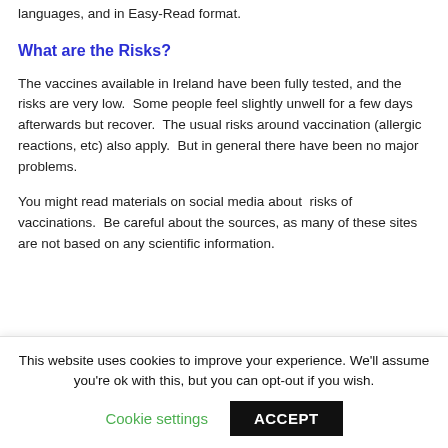languages, and in Easy-Read format.
What are the Risks?
The vaccines available in Ireland have been fully tested, and the risks are very low.  Some people feel slightly unwell for a few days afterwards but recover.  The usual risks around vaccination (allergic reactions, etc) also apply.  But in general there have been no major problems.
You might read materials on social media about  risks of vaccinations.  Be careful about the sources, as many of these sites are not based on any scientific information.
This website uses cookies to improve your experience. We'll assume you're ok with this, but you can opt-out if you wish.